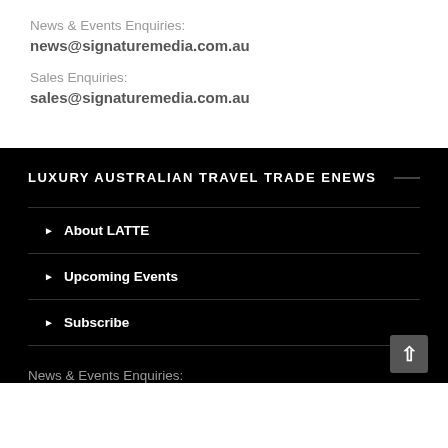News & Events Enquiries:
news@signaturemedia.com.au
Sales Enquiries:
sales@signaturemedia.com.au
LUXURY AUSTRALIAN TRAVEL TRADE ENEWS
About LATTE
Upcoming Events
Subscribe
News & Events Enquiries: